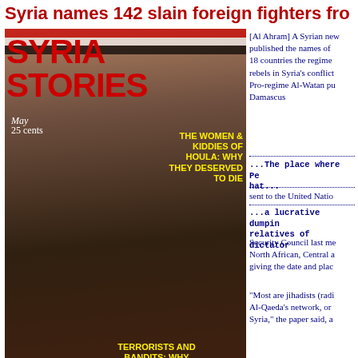Syria names 142 slain foreign fighters fro...
[Figure (photo): Magazine-style cover image showing Syria Stories with Assad photo, yellow text overlays about Houla women and children, Homs, and Latakia, overlaid on left half of page]
[Al Ahram] A Syrian newspaper published the names of 18 countries the regime rebels in Syria's conflict. Pro-regime Al-Watan published in Damascus
...The place where Pe- hat...
sent to the United Natio...
...a lucrative dumpin relatives of dictator Security Council last me North African, Central a giving the date and plac
"Most are jihadists (radi Al-Qaeda's network, or Syria," the paper said, a
Syria via Turkey and Leb.
Among the 142 it named 47 Saudis, 24 Libyans, 10 Tunisia Qataris and five Lebanese.